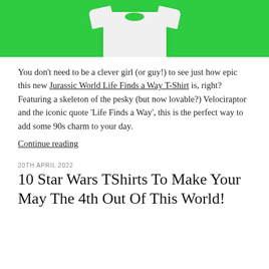[Figure (photo): White t-shirt displayed against a bright green background, shown from the front, partially cropped at the top.]
You don't need to be a clever girl (or guy!) to see just how epic this new Jurassic World Life Finds a Way T-Shirt is, right? Featuring a skeleton of the pesky (but now lovable?) Velociraptor and the iconic quote ‘Life Finds a Way’, this is the perfect way to add some 90s charm to your day.
Continue reading
20TH APRIL 2022
10 Star Wars TShirts To Make Your May The 4th Out Of This World!